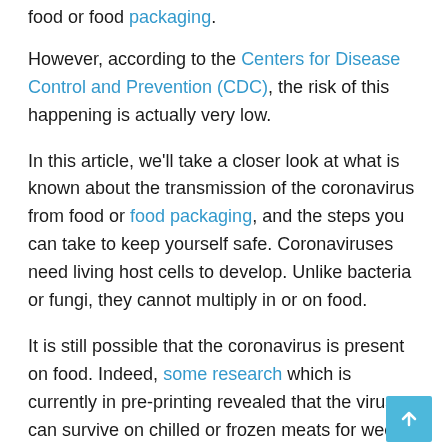food or food packaging.
However, according to the Centers for Disease Control and Prevention (CDC), the risk of this happening is actually very low.
In this article, we'll take a closer look at what is known about the transmission of the coronavirus from food or food packaging, and the steps you can take to keep yourself safe. Coronaviruses need living host cells to develop. Unlike bacteria or fungi, they cannot multiply in or on food.
It is still possible that the coronavirus is present on food. Indeed, some research which is currently in pre-printing revealed that the virus can survive on chilled or frozen meats for weeks.
However, the CDC notes that there is currently no evidence to support the spread of COVID-19 is associated with food.
Plus, taking proper food safety measures can help make sure